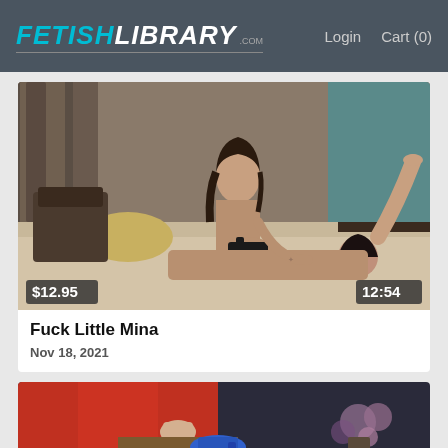FETISH LIBRARY .com  Login  Cart (0)
[Figure (photo): Video thumbnail showing two women on a hotel bed in an intimate scene. Price badge showing $12.95 in bottom-left corner, duration badge showing 12:54 in bottom-right corner.]
Fuck Little Mina
Nov 18, 2021
[Figure (photo): Partial thumbnail of second video showing a woman in a red dress and blue high-heeled shoes, with flowers visible in the background.]